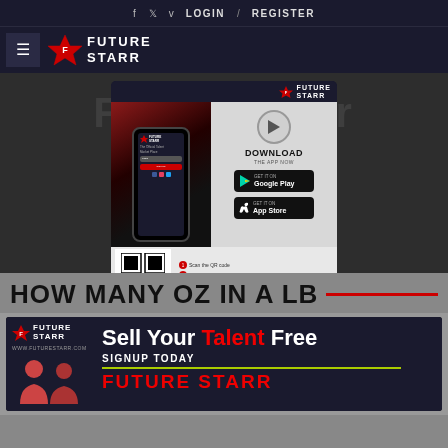f  t  v  LOGIN / REGISTER
[Figure (logo): FutureStarr logo with hamburger menu icon, star emblem and FUTURE STARR text in white on dark navy background]
[Figure (infographic): FutureStarr app download promotional banner showing a smartphone mockup, DOWNLOAD THE APP NOW text, Google Play and App Store buttons, QR code, and steps to sign in]
HOW MANY OZ IN A LB
[Figure (infographic): FutureStarr advertisement banner: Sell Your Talent Free - SIGNUP TODAY with dark background and red/white text]